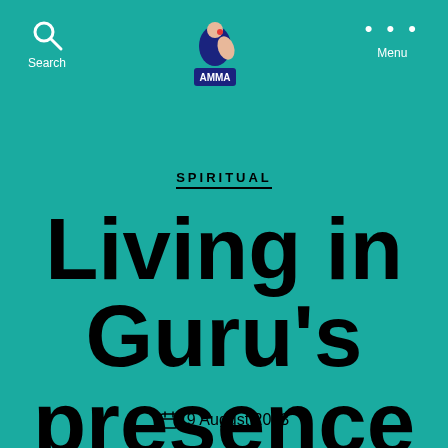Search | AMMA | Menu
SPIRITUAL
Living in Guru's presence
9 August 2003